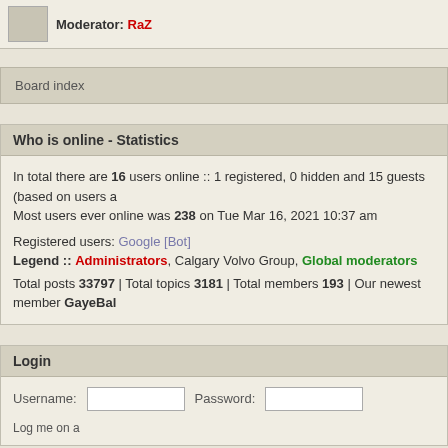Moderator: RaZ
Board index
Who is online - Statistics
In total there are 16 users online :: 1 registered, 0 hidden and 15 guests (based on users a Most users ever online was 238 on Tue Mar 16, 2021 10:37 am
Registered users: Google [Bot]
Legend :: Administrators, Calgary Volvo Group, Global moderators
Total posts 33797 | Total topics 3181 | Total members 193 | Our newest member GayeBal
Login
Username:   Password:   Log me on a
New posts   No new posts
Powered by phpBB © 2000, 2002, 2005, 2007 p  610nm Style by Daniel St. Jules of Game